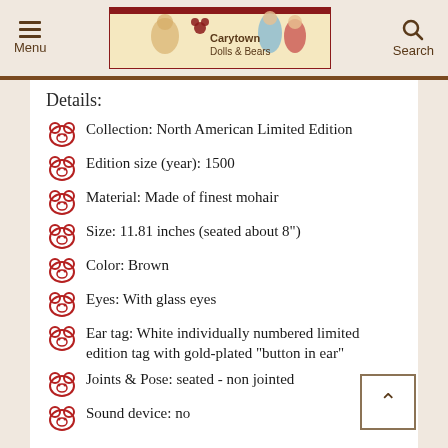Menu | Carytown Dolls & Bears | Search
Details:
Collection: North American Limited Edition
Edition size (year): 1500
Material: Made of finest mohair
Size: 11.81 inches (seated about 8")
Color: Brown
Eyes: With glass eyes
Ear tag: White individually numbered limited edition tag with gold-plated "button in ear"
Joints & Pose: seated - non jointed
Sound device: no